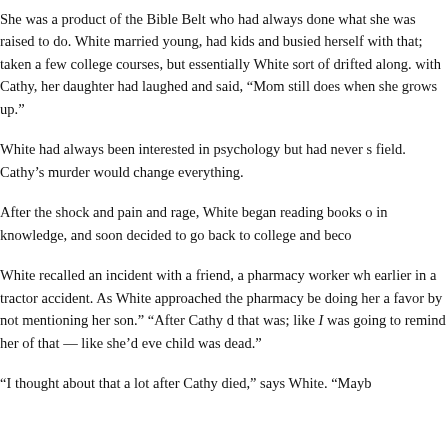She was a product of the Bible Belt who had always done what she was raised to do. White married young, had kids and busied herself with that; taken a few college courses, but essentially White sort of drifted along. with Cathy, her daughter had laughed and said, "Mom still does when she grows up."
White had always been interested in psychology but had never studied the field. Cathy's murder would change everything.
After the shock and pain and rage, White began reading books on grief, in knowledge, and soon decided to go back to college and become a counselor.
White recalled an incident with a friend, a pharmacy worker who had lost a son earlier in a tractor accident. As White approached the pharmacy, she thought be doing her a favor by not mentioning her son. "After Cathy died, I knew what that was; like I was going to remind her of that — like she'd ever forgotten her child was dead."
"I thought about that a lot after Cathy died," says White. "Mayb